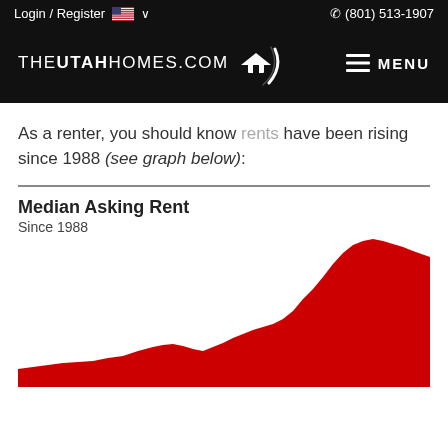Login / Register  🇺🇸 ∨    ☎ (801) 513-1907
[Figure (logo): THEUTAHHOMES.COM logo with house icon and swoosh, white on black background, with MENU hamburger icon]
As a renter, you should know rents have been rising since 1988 (see graph below):
[Figure (area-chart): Area chart showing Median Asking Rent since 1988, red filled area rising steeply toward the right, partially cut off at bottom]